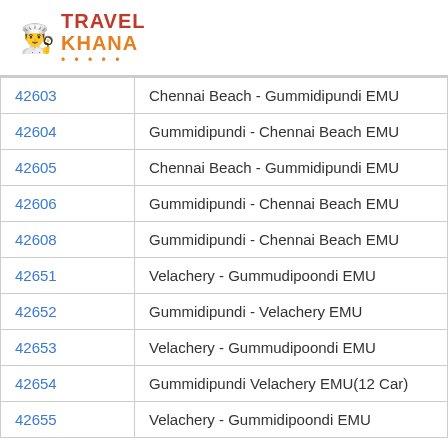[Figure (logo): Travel Khana logo with chef hat icon, red TRAVEL text and orange KHANA text with orange dots underline]
| 42603 | Chennai Beach - Gummidipundi EMU |
| 42604 | Gummidipundi - Chennai Beach EMU |
| 42605 | Chennai Beach - Gummidipundi EMU |
| 42606 | Gummidipundi - Chennai Beach EMU |
| 42608 | Gummidipundi - Chennai Beach EMU |
| 42651 | Velachery - Gummudipoondi EMU |
| 42652 | Gummidipundi - Velachery EMU |
| 42653 | Velachery - Gummudipoondi EMU |
| 42654 | Gummidipundi Velachery EMU(12 Car) |
| 42655 | Velachery - Gummidipoondi EMU |